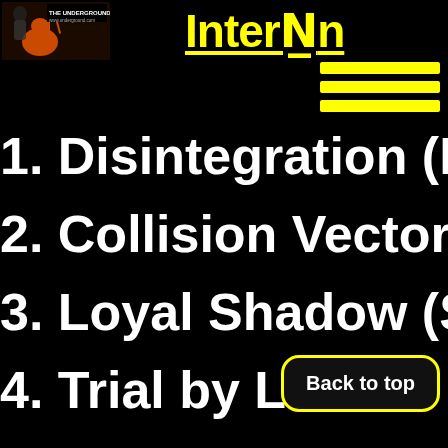[Figure (logo): The Underground website logo with guitar graphic and www.underground.com text]
InterN__n
1. Disintegration (E…
2. Collision Vector
3. Loyal Shadow (S…
4. Trial by Libet…
5. Point of Contact